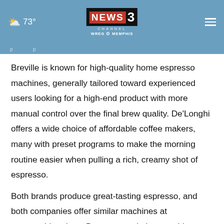73° NEWS 3 CHANNEL WREG MEMPHIS
Breville is known for high-quality home espresso machines, generally tailored toward experienced users looking for a high-end product with more manual control over the final brew quality. De'Longhi offers a wide choice of affordable coffee makers, many with preset programs to make the morning routine easier when pulling a rich, creamy shot of espresso.
Both brands produce great-tasting espresso, and both companies offer similar machines at comparable prices. But some variations could influence your choice.